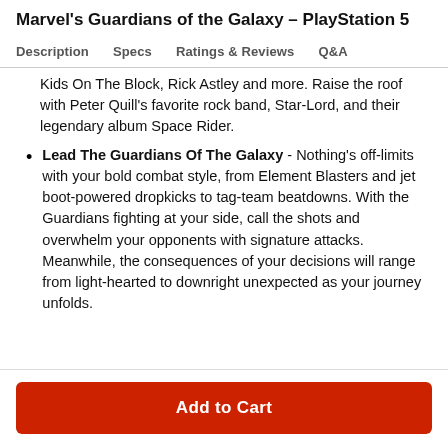Marvel's Guardians of the Galaxy – PlayStation 5
Description   Specs   Ratings & Reviews   Q&A
Kids On The Block, Rick Astley and more. Raise the roof with Peter Quill's favorite rock band, Star-Lord, and their legendary album Space Rider.
Lead The Guardians Of The Galaxy - Nothing's off-limits with your bold combat style, from Element Blasters and jet boot-powered dropkicks to tag-team beatdowns. With the Guardians fighting at your side, call the shots and overwhelm your opponents with signature attacks. Meanwhile, the consequences of your decisions will range from light-hearted to downright unexpected as your journey unfolds.
Add to Cart